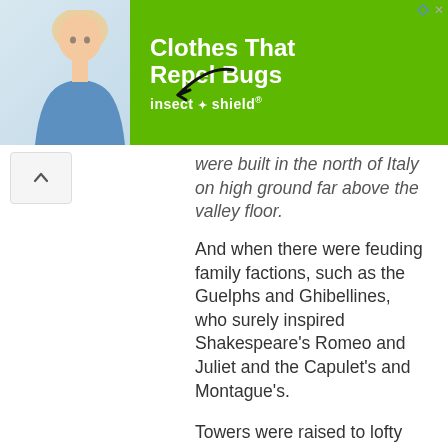[Figure (infographic): Advertisement banner for Insect Shield showing a woman in a blue top with an arrow pointing to her clothing, green background with text 'Clothes That Repel Bugs' and insect shield logo]
were built in the north of Italy on high ground far above the valley floor.
And when there were feuding family factions, such as the Guelphs and Ghibellines, who surely inspired Shakespeare's Romeo and Juliet and the Capulet's and Montague's.
Towers were raised to lofty heights to serve as a defensive standpoint. While allowing a view of your enemies in advance of an attack they also had other practical uses.